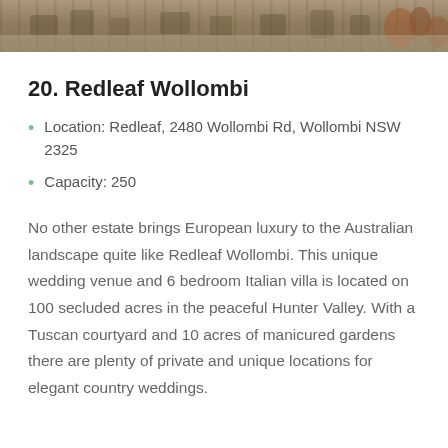[Figure (photo): Outdoor courtyard or terrace area with stone/gravel ground, chairs, and terracotta pots visible at top of page]
20. Redleaf Wollombi
Location: Redleaf, 2480 Wollombi Rd, Wollombi NSW 2325
Capacity: 250
No other estate brings European luxury to the Australian landscape quite like Redleaf Wollombi. This unique wedding venue and 6 bedroom Italian villa is located on 100 secluded acres in the peaceful Hunter Valley. With a Tuscan courtyard and 10 acres of manicured gardens there are plenty of private and unique locations for elegant country weddings.